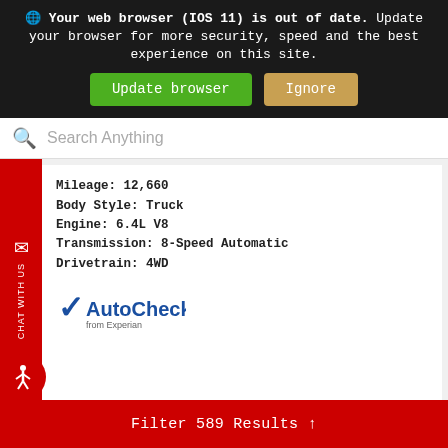Your web browser (IOS 11) is out of date. Update your browser for more security, speed and the best experience on this site.
Update browser | Ignore
Search Anything
CHAT WITH US
Mileage: 12,660
Body Style: Truck
Engine: 6.4L V8
Transmission: 8-Speed Automatic
Drivetrain: 4WD
[Figure (logo): AutoCheck from Experian logo with blue checkmark]
|  |  |
| --- | --- |
| Original Price | $55,603 |
| Diehl Discount | $1,104 |
DIEHL PRICE
Filter 589 Results ^